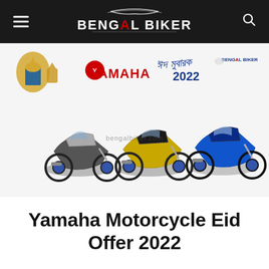BENGAL BIKER
[Figure (photo): Promotional banner for Yamaha Motorcycle Eid Offer 2022 showing three Yamaha sport motorcycles (black/grey, yellow/black, blue) with Yamaha logo, Eid greeting in Bengali script '2022', and Bengal Biker watermark logo.]
Yamaha Motorcycle Eid Offer 2022